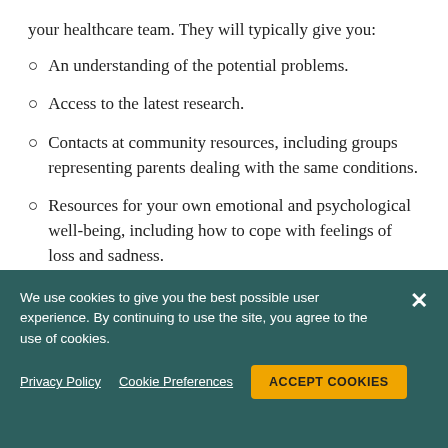your healthcare team. They will typically give you:
An understanding of the potential problems.
Access to the latest research.
Contacts at community resources, including groups representing parents dealing with the same conditions.
Resources for your own emotional and psychological well-being, including how to cope with feelings of loss and sadness.
We use cookies to give you the best possible user experience. By continuing to use the site, you agree to the use of cookies.
Privacy Policy   Cookie Preferences   ACCEPT COOKIES